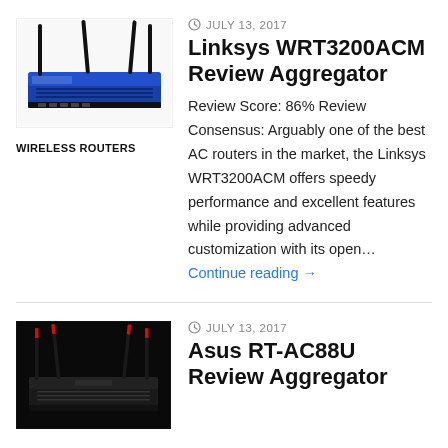[Figure (photo): Linksys WRT3200ACM wireless router — blue and black with multiple antennas, viewed from front-above angle]
WIRELESS ROUTERS
JULY 13, 2017
Linksys WRT3200ACM Review Aggregator
Review Score: 86% Review Consensus: Arguably one of the best AC routers in the market, the Linksys WRT3200ACM offers speedy performance and excellent features while providing advanced customization with its open… Continue reading →
[Figure (photo): Asus RT-AC88U wireless router — dark/black with red accent antennas on dark background]
JULY 13, 2017
Asus RT-AC88U Review Aggregator